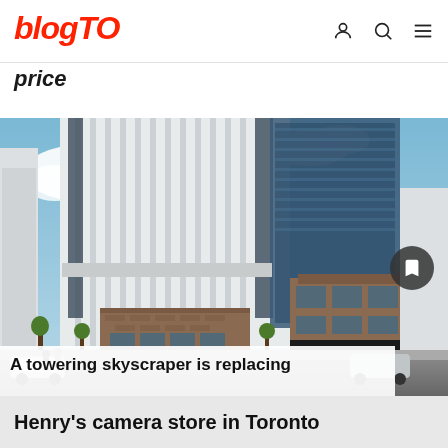blogTO
price
[Figure (photo): Architectural rendering of a tall modern skyscraper replacing Henry's camera store in Toronto, showing glass and concrete tower with surrounding street-level buildings and pedestrians]
A towering skyscraper is replacing Henry's camera store in Toronto